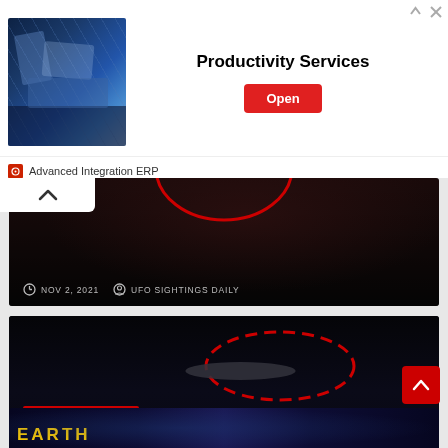[Figure (screenshot): Advertisement banner showing machinery/industrial equipment image on left, 'Productivity Services' text in center, red 'Open' button on right, with 'Advanced Integration ERP' label at bottom. Arrow/close icons in top right.]
[Figure (photo): Partial nighttime article card showing a red circle outline on dark background, with metadata showing 'NOV 2, 2021' and 'UFO SIGHTINGS DAILY']
[Figure (photo): Nighttime city skyline photo with red dashed ellipse highlighting a dark disc-shaped object in the sky. Category label 'UFO SIGHTINGS NEWS' in red, article title 'New York City Spheres Spotted On Sept 27, 2021' in white bold text, metadata showing 'OCT 14, 2021' and 'UFO SIGHTINGS DAILY']
[Figure (photo): Partial view of bottom article card with dark space background and yellow 'EARTH' text visible]